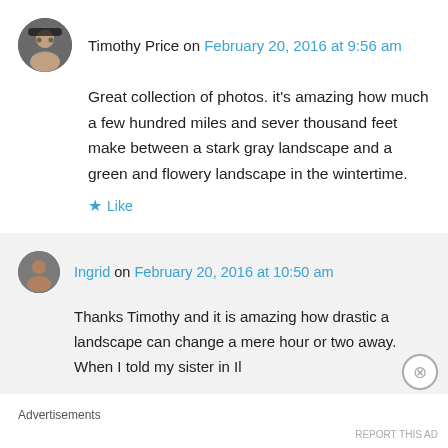Timothy Price on February 20, 2016 at 9:56 am
Great collection of photos. it's amazing how much a few hundred miles and sever thousand feet make between a stark gray landscape and a green and flowery landscape in the wintertime.
Like
Ingrid on February 20, 2016 at 10:50 am
Thanks Timothy and it is amazing how drastic a landscape can change a mere hour or two away. When I told my sister in Il
Advertisements